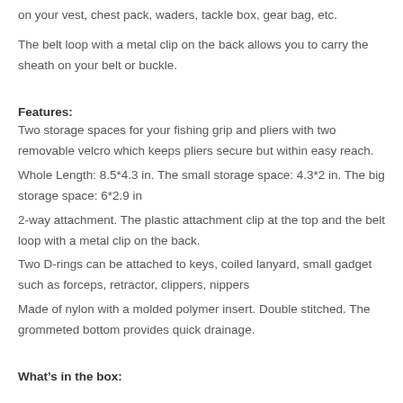on your vest, chest pack, waders, tackle box, gear bag, etc.
The belt loop with a metal clip on the back allows you to carry the sheath on your belt or buckle.
Features:
Two storage spaces for your fishing grip and pliers with two removable velcro which keeps pliers secure but within easy reach.
Whole Length: 8.5*4.3 in. The small storage space: 4.3*2 in. The big storage space: 6*2.9 in
2-way attachment. The plastic attachment clip at the top and the belt loop with a metal clip on the back.
Two D-rings can be attached to keys, coiled lanyard, small gadget such as forceps, retractor, clippers, nippers
Made of nylon with a molded polymer insert. Double stitched. The grommeted bottom provides quick drainage.
What’s in the box: